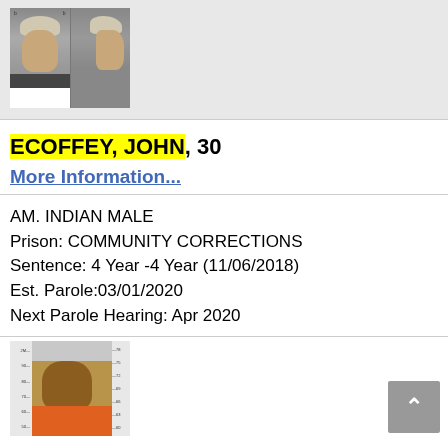[Figure (photo): Mugshot photo showing front and side profile of an older male with white/grey hair wearing dark clothing with white shirt underneath]
ECOFFEY, JOHN, 30
More Information...
AM. INDIAN MALE
Prison: COMMUNITY CORRECTIONS
Sentence: 4 Year -4 Year (11/06/2018)
Est. Parole:03/01/2020
Next Parole Hearing: Apr 2020
[Figure (photo): Mugshot photo of a younger African American male wearing an orange shirt, shown with height measurement ruler on both sides]